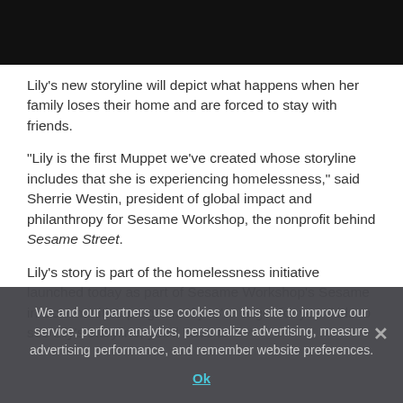[Figure (photo): Black bar at top of page representing cropped image area]
Lily's new storyline will depict what happens when her family loses their home and are forced to stay with friends.
“Lily is the first Muppet we've created whose storyline includes that she is experiencing homelessness,” said Sherrie Westin, president of global impact and philanthropy for Sesame Workshop, the nonprofit behind Sesame Street.
Lily’s story is part of the homelessness initiative launched today as part of Sesame Workshop’s Sesame in Communities program. If you’re eager for your kids to see Lily’s storyline, you’ll have to
We and our partners use cookies on this site to improve our service, perform analytics, personalize advertising, measure advertising performance, and remember website preferences.
Ok